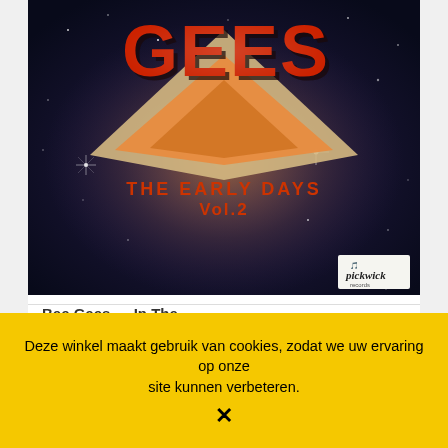[Figure (photo): Album cover of Bee Gees 'The Early Days Vol.2' on Pickwick Records, showing space/starfield background with large stylized 'GEES' text in red and a geometric design.]
Bee Gees --- In The...
€ 5,00
Deze winkel maakt gebruik van cookies, zodat we uw ervaring op onze site kunnen verbeteren.